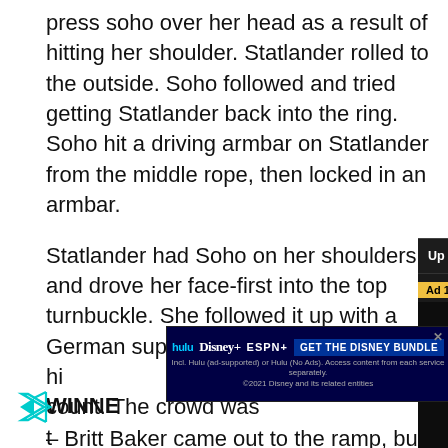press soho over her head as a result of hitting her shoulder. Statlander rolled to the outside. Soho followed and tried getting Statlander back into the ring. Soho hit a driving armbar on Statlander from the middle rope, then locked in an armbar.
Statlander had Soho on her shoulders and drove her face-first into the top turnbuckle. She followed it up with a German suplex, then hi… count. The crowd was t… cheering Statlander on. clothesline, then tried t… fought out of it, then tri… roll through pin for the
[Figure (screenshot): Video player overlay showing 'Up Next - AEW All Out has a main event!...' with Ad 1 of 1 (0:15) label and muted audio button on dark background]
[Figure (screenshot): Disney Bundle advertisement showing Hulu, Disney+, ESPN+ logos with 'GET THE DISNEY BUNDLE' call to action]
WINNE…
– Britt Baker came out to the ramp, but Soho cut her off